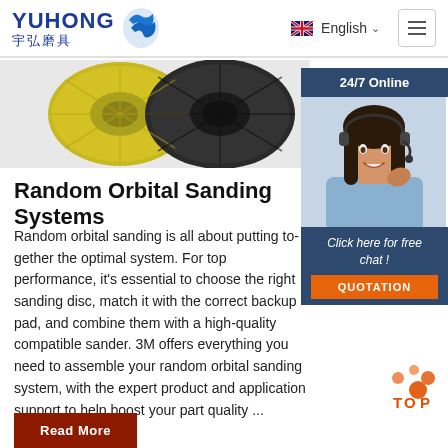YUHONG 宇弘磨具 | English | Menu
[Figure (photo): Product image showing sanding discs/flap discs, partially visible at top]
[Figure (photo): 24/7 Online support panel showing woman with headset and chat options]
Random Orbital Sanding System
Random orbital sanding is all about putting together the optimal system. For top performance, it's essential to choose the right sanding disc, match it with the correct backup pad, and combine them with a high-quality compatible sander. 3M offers everything you need to assemble your random orbital sanding system, with the expert product and application support to help boost your part quality ...